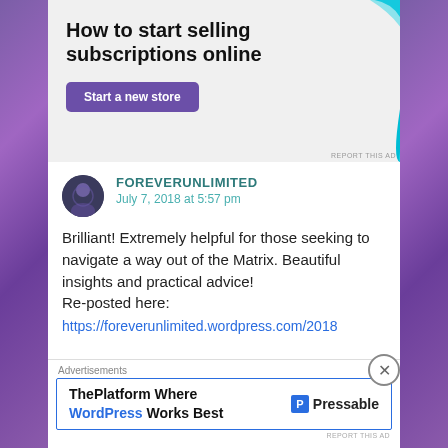[Figure (screenshot): Advertisement banner: 'How to start selling subscriptions online' with a purple 'Start a new store' button and a cyan decorative shape on the right. Gray background. 'REPORT THIS AD' label in bottom right.]
FOREVERUNLIMITED
July 7, 2018 at 5:57 pm
Brilliant! Extremely helpful for those seeking to navigate a way out of the Matrix. Beautiful insights and practical advice!
Re-posted here:
https://foreverunlimited.wordpress.com/2018
Advertisements
[Figure (screenshot): Bottom advertisement: 'ThePlatform Where WordPress Works Best' with Pressable logo on right. Blue border box.]